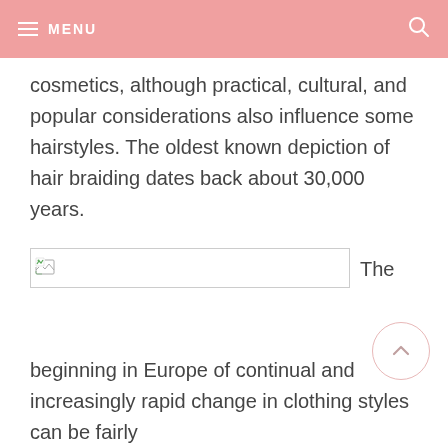MENU
cosmetics, although practical, cultural, and popular considerations also influence some hairstyles. The oldest known depiction of hair braiding dates back about 30,000 years.
[Figure (photo): Broken image placeholder with small image icon on left side]
The
beginning in Europe of continual and increasingly rapid change in clothing styles can be fairly